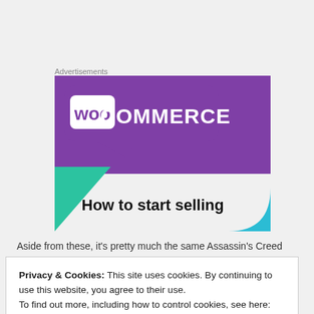Advertisements
[Figure (illustration): WooCommerce advertisement banner showing the WooCommerce logo on a purple background with the text 'How to start selling' on a light grey background with teal and blue geometric shapes.]
Aside from these, it's pretty much the same Assassin's Creed
Privacy & Cookies: This site uses cookies. By continuing to use this website, you agree to their use.
To find out more, including how to control cookies, see here: Cookie Policy
Close and accept